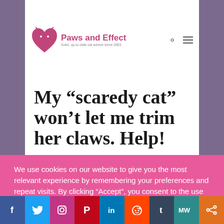Paws and Effect — Solid, up-to-date cat advice since 2003
My “scaredy cat” won’t let me trim her claws. Help!
by The Paws and Effect Gang | Jul 18, 2010 | Cat
We use cookies on our website to give you the most relevant experience by remembering your preferences and repeat visits. By clicking “Accept”, you consent to the use of ALL the cookies.
Cookie settings   ACCEPT